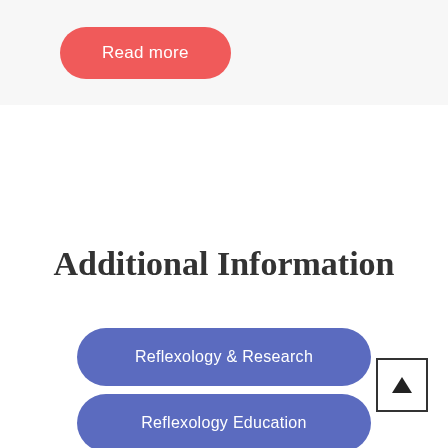[Figure (other): Red rounded pill button labeled 'Read more' on a light gray background]
Additional Information
Reflexology & Research
Reflexology Education
[Figure (other): Back to top button — a square box with an upward pointing arrow]